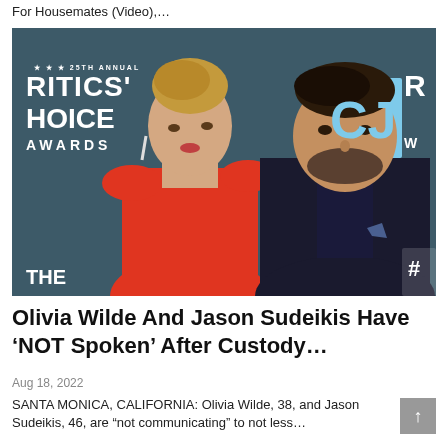For Housemates (Video),…
[Figure (photo): Olivia Wilde and Jason Sudeikis posing together at the 25th Annual Critics' Choice Awards red carpet backdrop. Olivia wears a red dress, Jason wears a dark suit.]
Olivia Wilde And Jason Sudeikis Have 'NOT Spoken' After Custody…
Aug 18, 2022
SANTA MONICA, CALIFORNIA: Olivia Wilde, 38, and Jason Sudeikis, 46, are "not communicating" to not less…